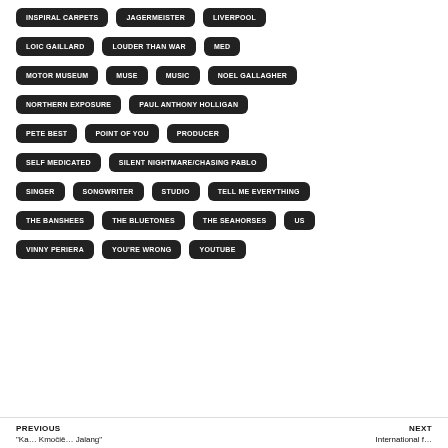INSPIRAL CARPETS
JAGERMEISTER
LIVERPOOL
LOIC GAILLARD
LOUDER THAN WAR
MED
MOTOR MUSEUM
MUSE
MUSIC
NOEL GALLAGHER
NORTHERN EXPOSURE
PAUL ANTHONY HOLLIGAN
PETE BEST
POINT OF YOU
PRODUCER
SELF MEDICATED
SILENT NIGHTMARE/CHASING PABLO
SINGER
SONGWRITER
STUDIO
TELL ME EVERYTHING
THE BANSHEES
THE BLUETONES
THE SEAHORSES
US
VINNY PERIERA
YOU'RE WRONG
YOUTUBE
PREVIOUS | NEXT